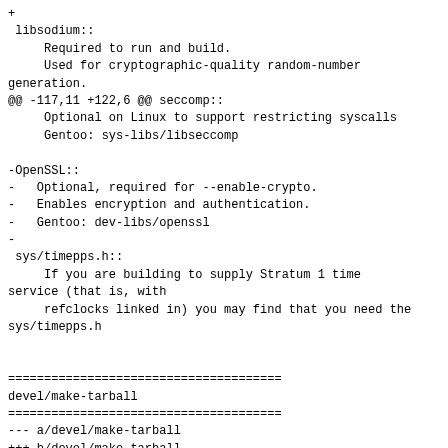+
 libsodium::
     Required to run and build.
     Used for cryptographic-quality random-number
generation.
@@ -117,11 +122,6 @@ seccomp::
     Optional on Linux to support restricting syscalls
     Gentoo: sys-libs/libseccomp

-OpenSSL::
-   Optional, required for --enable-crypto.
-   Enables encryption and authentication.
-   Gentoo: dev-libs/openssl
-
 sys/timepps.h::
     If you are building to supply Stratum 1 time
service (that is, with
     refclocks linked in) you may find that you need the
sys/timepps.h


======================================
devel/make-tarball
======================================
--- a/devel/make-tarball
+++ b/devel/make-tarball
@@ -47,7 +47,7 @@ mkdir .tmp
 cd .tmp
 tar -xzf ../ntpsec-${V}.tar.gz
 cd ntpsec-${V}
 ./ configure [--enable-all] --enable-convex-opts